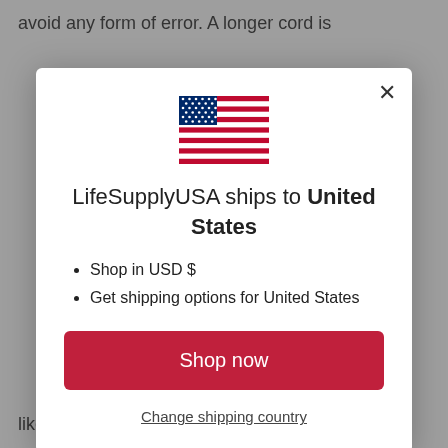avoid any form of error. A longer cord is
[Figure (illustration): US flag emoji/illustration]
LifeSupplyUSA ships to United States
Shop in USD $
Get shipping options for United States
Shop now
Change shipping country
like lights, battery chargers, and probably a